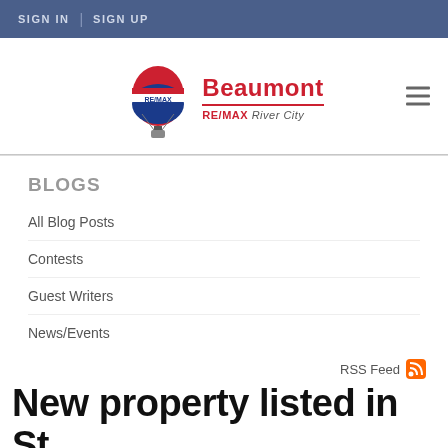SIGN IN | SIGN UP
[Figure (logo): RE/MAX Beaumont RE/MAX River City logo with hot air balloon]
BLOGS
All Blog Posts
Contests
Guest Writers
News/Events
RSS Feed
New property listed in St.